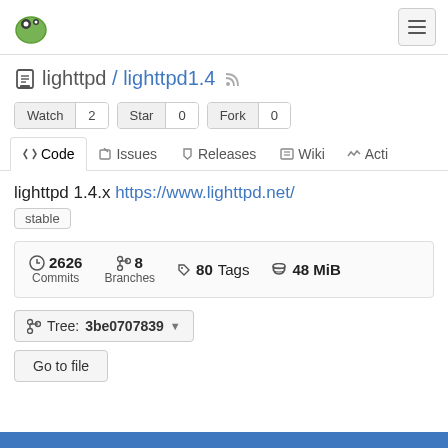Gitea logo and hamburger menu
lighttpd / lighttpd1.4
Watch 2  Star 0  Fork 0
Code  Issues  Releases  Wiki  Acti
lighttpd 1.4.x https://www.lighttpd.net/
stable
2626 Commits  8 Branches  80 Tags  48 MiB
Tree: 3be0707839
Go to file